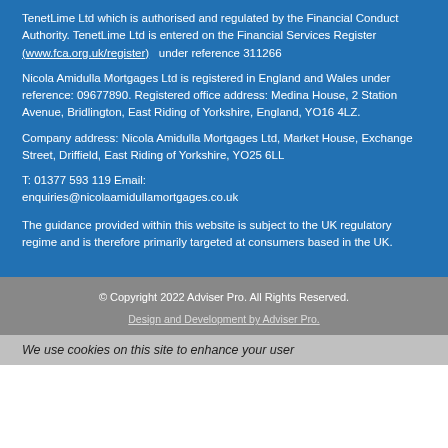TenetLime Ltd which is authorised and regulated by the Financial Conduct Authority. TenetLime Ltd is entered on the Financial Services Register (www.fca.org.uk/register) under reference 311266
Nicola Amidulla Mortgages Ltd is registered in England and Wales under reference: 09677890. Registered office address: Medina House, 2 Station Avenue, Bridlington, East Riding of Yorkshire, England, YO16 4LZ.
Company address: Nicola Amidulla Mortgages Ltd, Market House, Exchange Street, Driffield, East Riding of Yorkshire, YO25 6LL
T: 01377 593 119 Email: enquiries@nicolaamidullamortgages.co.uk
The guidance provided within this website is subject to the UK regulatory regime and is therefore primarily targeted at consumers based in the UK.
© Copyright 2022 Adviser Pro. All Rights Reserved.
Design and Development by Adviser Pro.
We use cookies on this site to enhance your user